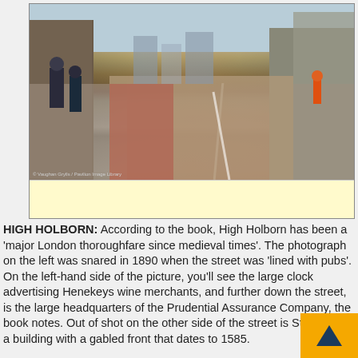[Figure (photo): Street-level photograph of High Holborn, London, showing pedestrians on the left pavement and a wide road with red cycle lane, with city buildings in the background.]
[Figure (other): Yellow advertisement banner placeholder box.]
HIGH HOLBORN: According to the book, High Holborn has been a 'major London thoroughfare since medieval times'. The photograph on the left was snared in 1890 when the street was 'lined with pubs'. On the left-hand side of the picture, you'll see the large clock advertising Henekeys wine merchants, and further down the street, is the large headquarters of the Prudential Assurance Company, the book notes. Out of shot on the other side of the street is Staple Inn, a building with a gabled front that dates to 1585.